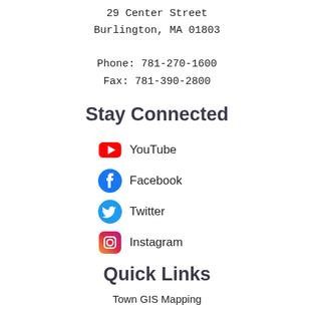29 Center Street
Burlington, MA 01803
Phone: 781-270-1600
Fax: 781-390-2800
Stay Connected
YouTube
Facebook
Twitter
Instagram
Quick Links
Town GIS Mapping
Parks & Facilities
Burlington Public Library